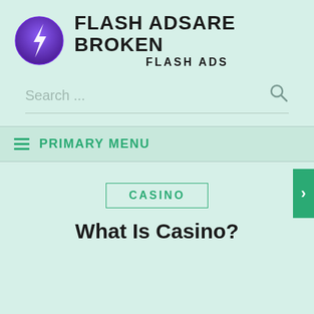[Figure (logo): Flash Ads Are Broken website logo: purple circle with lightning bolt icon, beside bold uppercase text 'FLASH ADSARE BROKEN' and subtitle 'FLASH ADS']
Search ...
PRIMARY MENU
CASINO
What Is Casino?